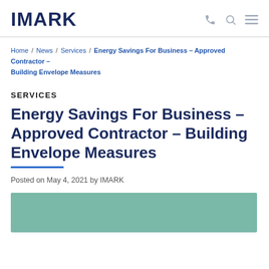IMARK
Home / News / Services / Energy Savings For Business – Approved Contractor – Building Envelope Measures
SERVICES
Energy Savings For Business – Approved Contractor – Building Envelope Measures
Posted on May 4, 2021 by IMARK
[Figure (photo): Green/teal colored image block at bottom of page]